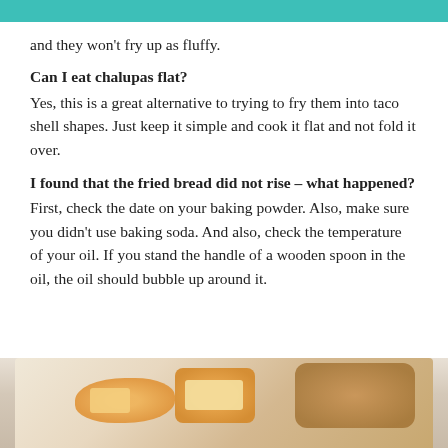and they won't fry up as fluffy.
Can I eat chalupas flat?
Yes, this is a great alternative to trying to fry them into taco shell shapes. Just keep it simple and cook it flat and not fold it over.
I found that the fried bread did not rise – what happened?
First, check the date on your baking powder. Also, make sure you didn't use baking soda. And also, check the temperature of your oil. If you stand the handle of a wooden spoon in the oil, the oil should bubble up around it.
[Figure (photo): Close-up photo of chalupas/fried bread with food items, blurred background]